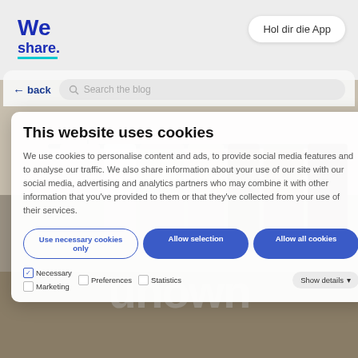[Figure (logo): WeShare logo in dark blue with teal underline bar]
Hol dir die App
[Figure (screenshot): Cookie consent modal overlaid on a webpage showing a clothing rack photo with 'unown' watermark. Navigation bar shows back button and search field. Cookie dialog reads 'This website uses cookies' with consent options.]
← back
Search the blog
This website uses cookies
We use cookies to personalise content and ads, to provide social media features and to analyse our traffic. We also share information about your use of our site with our social media, advertising and analytics partners who may combine it with other information that you've provided to them or that they've collected from your use of their services.
Use necessary cookies only
Allow selection
Allow all cookies
✓ Necessary
Preferences
Statistics
Marketing
Show details
unown